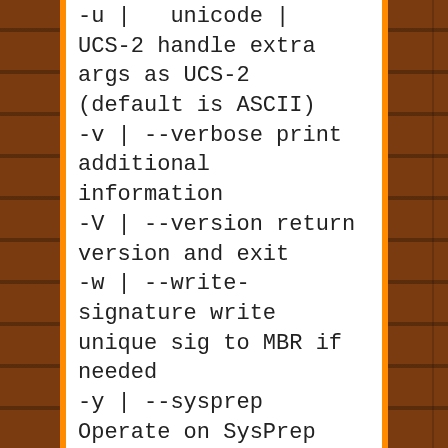-u | --unicode | UCS-2 handle extra args as UCS-2 (default is ASCII)
-v | --verbose print additional information
-V | --version return version and exit
-w | --write-signature write unique sig to MBR if needed
-y | --sysprep Operate on SysPrep variables, not Boot